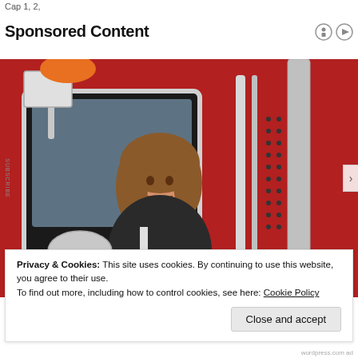Cap 1, 2,
Sponsored Content
[Figure (photo): A smiling woman truck driver leaning out of the open window of a large red semi-truck cab, wearing a dark jacket with white accents. The truck has chrome mirrors, exhaust stacks, and metallic details visible.]
Privacy & Cookies: This site uses cookies. By continuing to use this website, you agree to their use.
To find out more, including how to control cookies, see here: Cookie Policy
Close and accept
wordpress.com ad